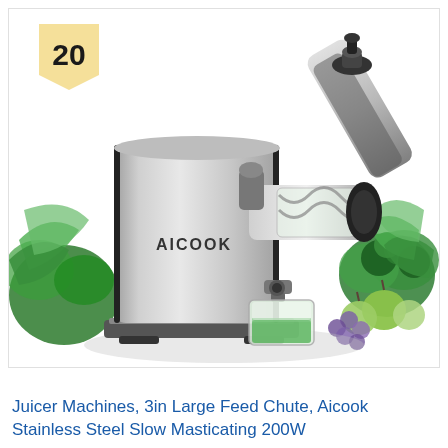[Figure (photo): Product photo of an AICOOK brand stainless steel slow masticating juicer machine with a 3-inch large feed chute, showing the silver metallic body with a horizontal auger/chute mechanism, a glass cup filled with green juice underneath the spout, and green vegetables and apples arranged around the base. A yellow numbered badge with '20' appears in the top-left corner.]
Juicer Machines, 3in Large Feed Chute, Aicook Stainless Steel Slow Masticating 200W